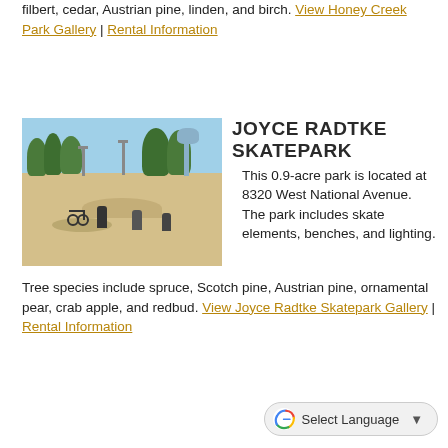filbert, cedar, Austrian pine, linden, and birch. View Honey Creek Park Gallery | Rental Information
[Figure (photo): Outdoor skatepark with smooth concrete surface, skaters and a cyclist, lamp posts, trees, and a water tower in the background under a clear blue sky.]
JOYCE RADTKE SKATEPARK
This 0.9-acre park is located at 8320 West National Avenue. The park includes skate elements, benches, and lighting. Tree species include spruce, Scotch pine, Austrian pine, ornamental pear, crab apple, and redbud. View Joyce Radtke Skatepark Gallery | Rental Information